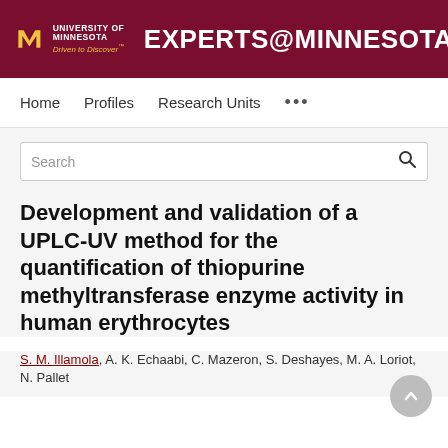[Figure (logo): University of Minnesota Experts@Minnesota header banner with maroon background, U of M logo, and white text reading EXPERTS@MINNESOTA]
Home   Profiles   Research Units   ...
Search
Development and validation of a UPLC-UV method for the quantification of thiopurine methyltransferase enzyme activity in human erythrocytes
S. M. Illamola, A. K. Echaabi, C. Mazeron, S. Deshayes, M. A. Loriot, N. Pallet